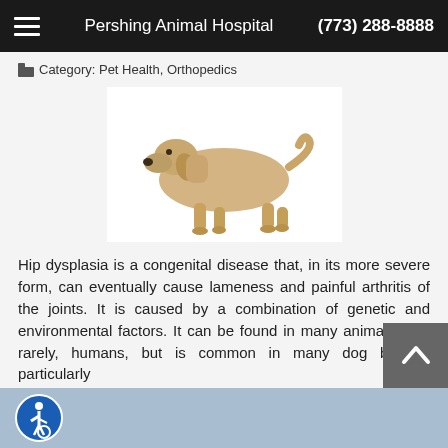Pershing Animal Hospital  (773) 288-8888
Category: Pet Health, Orthopedics
[Figure (photo): A yellow/golden Labrador dog standing in profile view on a white background]
Hip dysplasia is a congenital disease that, in its more severe form, can eventually cause lameness and painful arthritis of the joints. It is caused by a combination of genetic and environmental factors. It can be found in many animals and, rarely, humans, but is common in many dog breeds, particularly
READ MORE